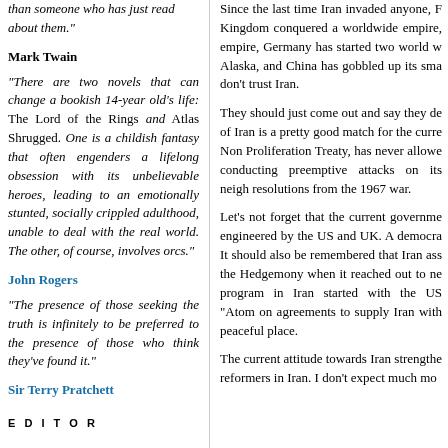than someone who has just read about them."
Mark Twain
"There are two novels that can change a bookish 14-year old’s life: The Lord of the Rings and Atlas Shrugged. One is a childish fantasy that often engenders a lifelong obsession with its unbelievable heroes, leading to an emotionally stunted, socially crippled adulthood, unable to deal with the real world. The other, of course, involves orcs."
John Rogers
"The presence of those seeking the truth is infinitely to be preferred to the presence of those who think they’ve found it."
Sir Terry Pratchett
E D I T O R
Since the last time Iran invaded anyone, F Kingdom conquered a worldwide empire, empire, Germany has started two world w Alaska, and China has gobbled up its sma don’t trust Iran.
They should just come out and say they d of Iran is a pretty good match for the curr Non Proliferation Treaty, has never allowe conducting preemptive attacks on its neig resolutions from the 1967 war.
Let’s not forget that the current governme engineered by the US and UK. A democra It should also be remembered that Iran ass the Hedgemony when it reached out to ne program in Iran started with the US “Aton on agreements to supply Iran with peaceful place.
The current attitude towards Iran strengthe reformers in Iran. I don’t expect much mo